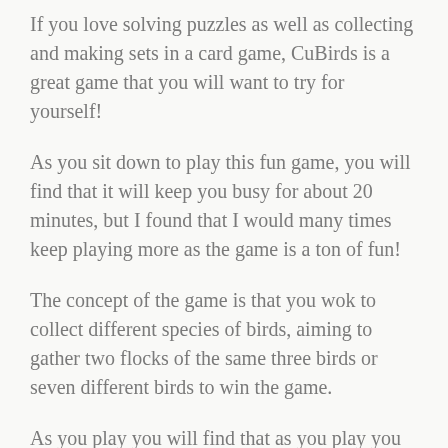If you love solving puzzles as well as collecting and making sets in a card game, CuBirds is a great game that you will want to try for yourself!
As you sit down to play this fun game, you will find that it will keep you busy for about 20 minutes, but I found that I would many times keep playing more as the game is a ton of fun!
The concept of the game is that you wok to collect different species of birds, aiming to gather two flocks of the same three birds or seven different birds to win the game.
As you play you will find that as you play you will get the opportunity to interact with all of the myriad of different cards that come up in